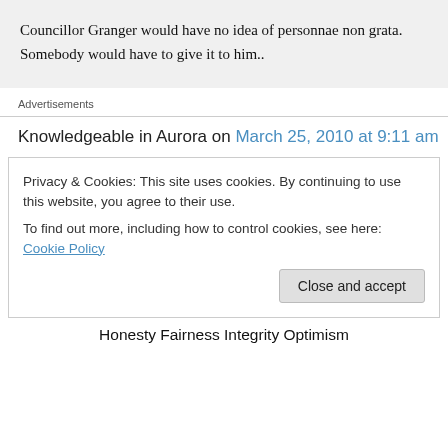Councillor Granger would have no idea of personnae non grata. Somebody would have to give it to him..
Advertisements
Knowledgeable in Aurora on March 25, 2010 at 9:11 am
Privacy & Cookies: This site uses cookies. By continuing to use this website, you agree to their use.
To find out more, including how to control cookies, see here: Cookie Policy
Close and accept
Honesty Fairness Integrity Optimism